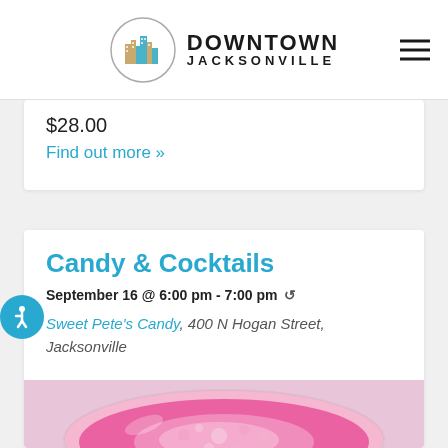DOWNTOWN JACKSONVILLE
$28.00
Find out more »
Candy & Cocktails
September 16 @ 6:00 pm - 7:00 pm
Sweet Pete's Candy, 400 N Hogan Street, Jacksonville
[Figure (photo): Overhead view of a pink/magenta cocktail in a glass, with ice and bubbles visible, against a white background with some chocolate pieces visible]